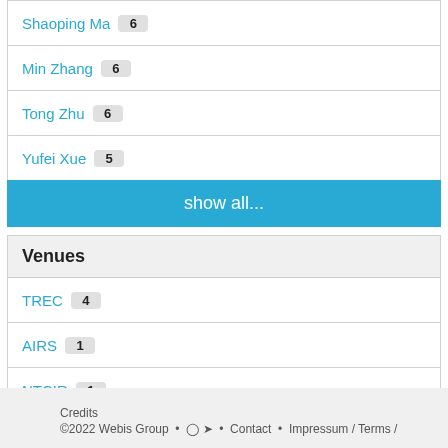Shaoping Ma 6
Min Zhang 6
Tong Zhu 6
Yufei Xue 5
show all...
Venues
TREC 4
AIRS 1
NTCIR 1
Credits
©2022 Webis Group • • Contact • Impressum / Terms /